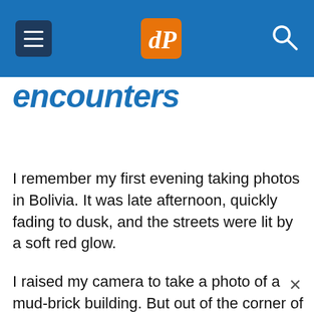dPS navigation header with hamburger menu, logo, and search icon
encounters
I remember my first evening taking photos in Bolivia. It was late afternoon, quickly fading to dusk, and the streets were lit by a soft red glow.
I raised my camera to take a photo of a mud-brick building. But out of the corner of my eye, I saw a small boy running down the street. He passed in front of the camera, stopped, turned toward me, and started waving his hands in the